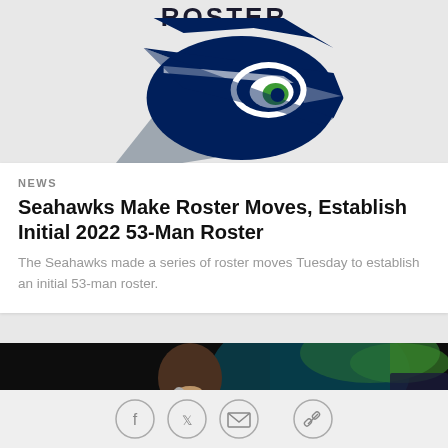ROSTER
[Figure (logo): Seattle Seahawks logo — stylized hawk head in navy blue and white with green eye, facing right]
NEWS
Seahawks Make Roster Moves, Establish Initial 2022 53-Man Roster
The Seahawks made a series of roster moves Tuesday to establish an initial 53-man roster.
[Figure (photo): Man smiling and speaking into a microphone on a dark stage, with green palm fronds visible in background]
[Figure (infographic): Social media sharing icons: Facebook, Twitter, Email, Link]